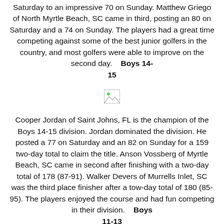Saturday to an impressive 70 on Sunday. Matthew Griego of North Myrtle Beach, SC came in third, posting an 80 on Saturday and a 74 on Sunday. The players had a great time competing against some of the best junior golfers in the country, and most golfers were able to improve on the second day.
Boys 14-15
[Figure (other): Broken/missing image placeholder icon]
Cooper Jordan of Saint Johns, FL is the champion of the Boys 14-15 division. Jordan dominated the division. He posted a 77 on Saturday and an 82 on Sunday for a 159 two-day total to claim the title. Anson Vossberg of Myrtle Beach, SC came in second after finishing with a two-day total of 178 (87-91). Walker Devers of Murrells Inlet, SC was the third place finisher after a tow-day total of 180 (85-95). The players enjoyed the course and had fun competing in their division.
Boys 11-13